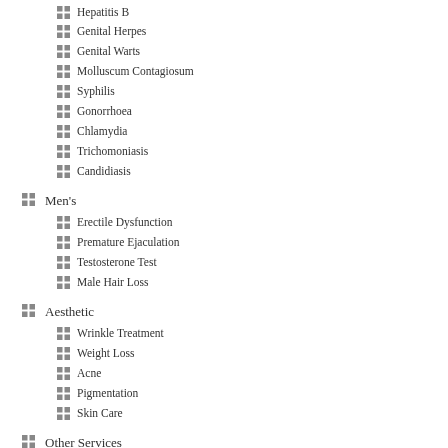Hepatitis B
Genital Herpes
Genital Warts
Molluscum Contagiosum
Syphilis
Gonorrhoea
Chlamydia
Trichomoniasis
Candidiasis
Men's
Erectile Dysfunction
Premature Ejaculation
Testosterone Test
Male Hair Loss
Aesthetic
Wrinkle Treatment
Weight Loss
Acne
Pigmentation
Skin Care
Other Services